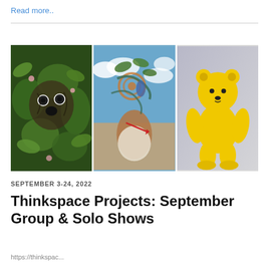Read more..
[Figure (photo): Three artwork images side by side: left shows a creature made of foliage and organic shapes; center shows a surreal figure with swirling elements on its head against a cloudy sky; right shows a yellow bear-shaped ceramic sculpture against a gray background.]
SEPTEMBER 3-24, 2022
Thinkspace Projects: September Group & Solo Shows